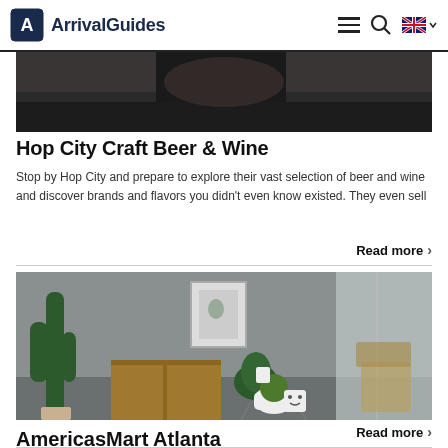ArrivalGuides
[Figure (photo): Dark photo of a bar or craft beer shop, partially cropped at top]
Hop City Craft Beer & Wine
Stop by Hop City and prepare to explore their vast selection of beer and wine and discover brands and flavors you didn't even know existed. They even sell
Read more ›
[Figure (photo): Interior design photo showing cacti, plants, shelving, and decorative items in a grey-toned room]
AmericasMart Atlanta
Wholesale facility open to retail trade professionals, interior designers, architects, and landscape architects with more than 4,000 permanent
Read more ›